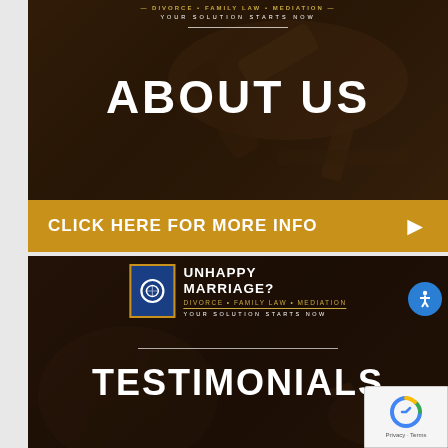[Figure (screenshot): Top banner with dark background showing a gavel, with text 'DIVORCE • FAMILY LAW • MEDIATION', 'YOUR SOLUTION STARTS NOW', and large 'ABOUT US' title in white]
CLICK HERE FOR MORE INFO
[Figure (screenshot): Bottom banner with dark background showing legal setting, logo with S icon, 'UNHAPPY MARRIAGE?' text, 'DIVORCE • FAMILY LAW • MEDIATION', 'YOUR SOLUTION STARTS NOW', and 'TESTIMONIALS' title in white]
Privacy · Terms